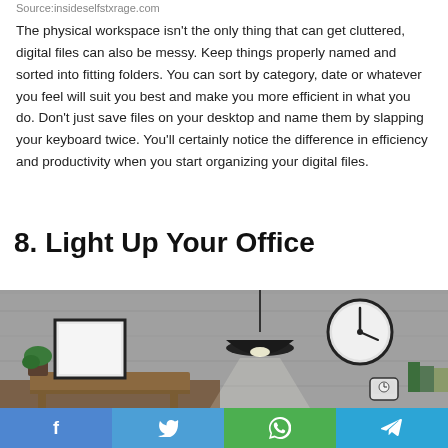Source:insideselfstxrage.com
The physical workspace isn't the only thing that can get cluttered, digital files can also be messy. Keep things properly named and sorted into fitting folders. You can sort by category, date or whatever you feel will suit you best and make you more efficient in what you do. Don't just save files on your desktop and name them by slapping your keyboard twice. You'll certainly notice the difference in efficiency and productivity when you start organizing your digital files.
8. Light Up Your Office
[Figure (photo): Office scene showing a pendant lamp hanging from the ceiling, a framed blank canvas on a wooden sideboard with a small plant, a wall clock, a small alarm clock, books, and a concrete-textured grey wall.]
f  t  ⊕  ✈